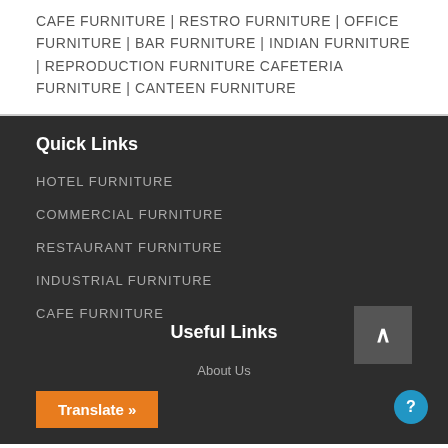CAFE FURNITURE | RESTRO FURNITURE | OFFICE FURNITURE | BAR FURNITURE | INDIAN FURNITURE | REPRODUCTION FURNITURE CAFETERIA FURNITURE | CANTEEN FURNITURE
Quick Links
HOTEL FURNITURE
COMMERCIAL FURNITURE
RESTAURANT FURNITURE
INDUSTRIAL FURNITURE
CAFE FURNITURE
Useful Links
About Us
Translate »